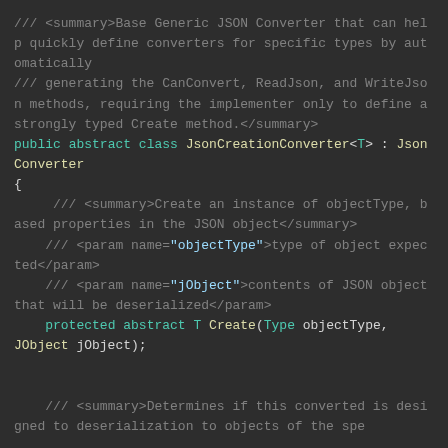[Figure (screenshot): Code screenshot showing a C# class definition for JsonCreationConverter<T> with XML doc comments, class declaration, and method stubs on a dark background IDE theme.]